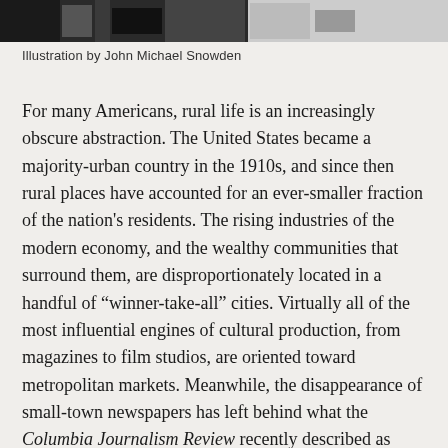[Figure (photo): Black and white illustration strip at top of page, partially visible]
Illustration by John Michael Snowden
For many Americans, rural life is an increasingly obscure abstraction. The United States became a majority-urban country in the 1910s, and since then rural places have accounted for an ever-smaller fraction of the nation's residents. The rising industries of the modern economy, and the wealthy communities that surround them, are disproportionately located in a handful of “winner-take-all” cities. Virtually all of the most influential engines of cultural production, from magazines to film studios, are oriented toward metropolitan markets. Meanwhile, the disappearance of small-town newspapers has left behind what the Columbia Journalism Review recently described as “news deserts”—places like Dodge County, Minnesota, where, as of 2017, there were zero daily newspapers serving a population of more than